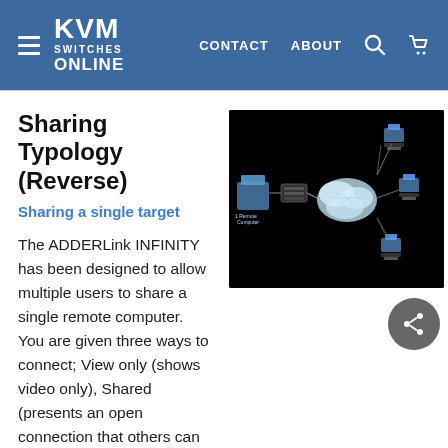KVM SWITCHES ONLINE | CONTACT | ABOUT
Sharing Typology (Reverse)
Sharing a single target
[Figure (network-graph): Network diagram on black background showing a remote computer connected via a KVM device to a cloud/network hub, with multiple workstation setups (monitors, keyboards, mice) connected around the network hub.]
The ADDERLink INFINITY has been designed to allow multiple users to share a single remote computer. You are given three ways to connect; View only (shows video only), Shared (presents an open connection that others can use at the same time) or